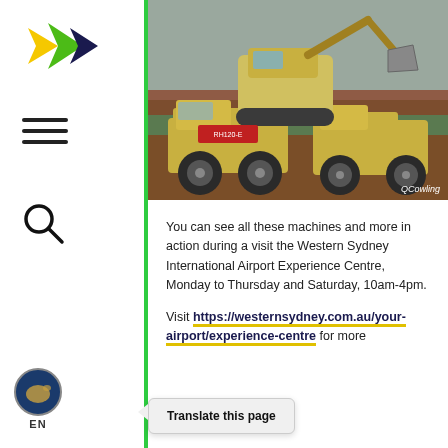[Figure (photo): Large yellow mining dump trucks and excavator operating at a construction/mining site with red dirt and trees in background. Photo credit: QCowling]
You can see all these machines and more in action during a visit the Western Sydney International Airport Experience Centre, Monday to Thursday and Saturday, 10am-4pm.
Visit https://westernsydney.com.au/your-airport/experience-centre for more
Translate this page